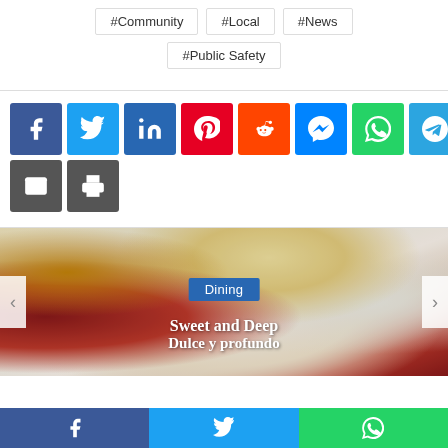#Community
#Local
#News
#Public Safety
[Figure (infographic): Social media share buttons: Facebook (blue), Twitter (light blue), LinkedIn (dark blue), Pinterest (red), Reddit (orange), Messenger (blue), WhatsApp (green), Telegram (cyan), Email (dark gray), Print (dark gray)]
[Figure (photo): Food photo showing a dessert (appears to be a strawberry shortcake or waffle with whipped cream and berries) with a 'Dining' badge overlay and title text 'Sweet and Deep / Dulce y profundo'. Navigation arrows on left and right sides.]
Dining
Sweet and Deep
Dulce y profundo
[Figure (infographic): Bottom share bar with Facebook (blue), Twitter (light blue), WhatsApp (green) buttons]